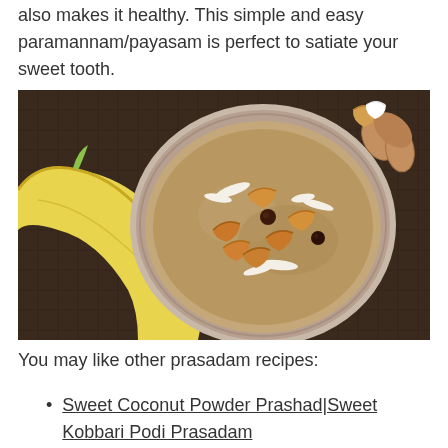also makes it healthy. This simple and easy paramannam/payasam is perfect to satiate your sweet tooth.
[Figure (photo): Overhead view of a bowl of paramannam/payasam garnished with cashews and coconut flakes, with a banana and almonds beside it on a dark wooden surface.]
You may like other prasadam recipes:
Sweet Coconut Powder Prashad|Sweet Kobbari Podi Prasadam